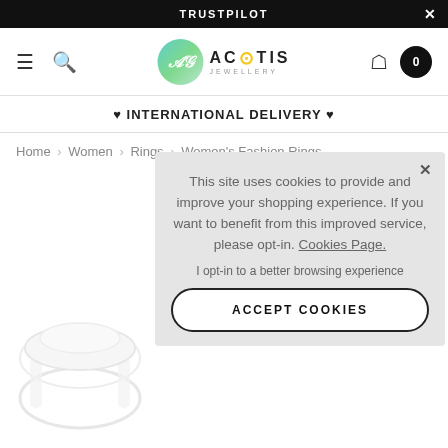TRUSTPILOT
[Figure (logo): Acotis Jewellery logo with teal/green circular emblem and navigation icons (hamburger, search, account, cart)]
♥ INTERNATIONAL DELIVERY ♥
Home › Women › Rings › Women's Fashion Rings
This site uses cookies to provide and improve your shopping experience. If you want to benefit from this improved service, please opt-in. Cookies Page.

I opt-in to a better browsing experience

ACCEPT COOKIES